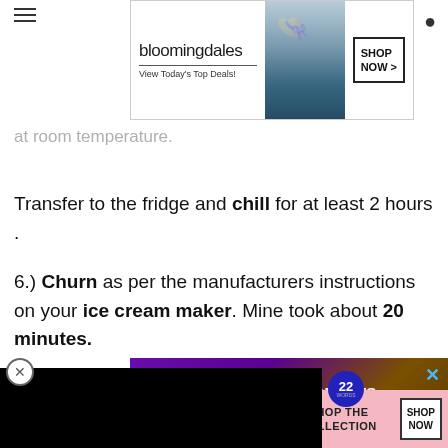[Figure (screenshot): Bloomingdales advertisement banner with logo, 'View Today's Top Deals!' tagline, model photo, and 'SHOP NOW >' button]
at room temperature.
Transfer to the fridge and chill for at least 2 hours .
6.) Churn as per the manufacturers instructions on your ice cream maker. Mine took about 20 minutes.
[Figure (screenshot): Black video player overlay occupying left portion of screen]
[Figure (screenshot): Advertisement: '37 GENIUS AMAZON PRODUCTS THAT CAN BE USED BY ANYONE' with purple headphones background and close button]
[Figure (screenshot): Victoria's Secret advertisement with model, VS logo, 'SHOP THE COLLECTION', and 'SHOP NOW' button on pink background]